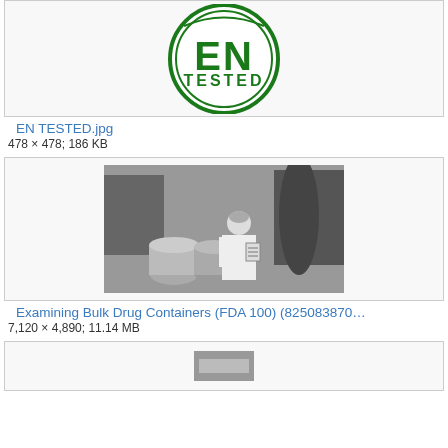[Figure (logo): EN TESTED green circular logo with text EN in large letters and TESTED below]
EN TESTED.jpg
478 × 478; 186 KB
[Figure (photo): Black and white photo of a person in white lab coat examining bulk drug containers in an industrial setting]
Examining Bulk Drug Containers (FDA 100) (825083870…
7,120 × 4,890; 11.14 MB
[Figure (photo): Partial view of a third image card at the bottom of the page]